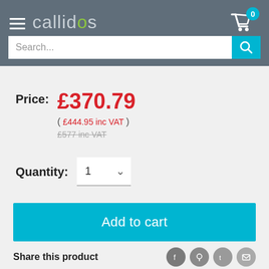callidus — navigation header with cart (0 items)
Search...
Price: £370.79 (£444.95 inc VAT / £577 inc VAT)
Quantity: 1
Add to cart
Share this product